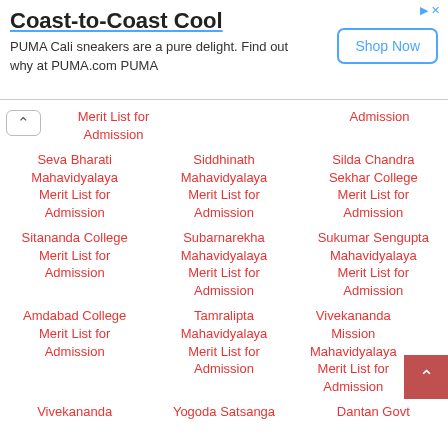[Figure (infographic): Advertisement banner for PUMA Cali sneakers with title 'Coast-to-Coast Cool', body text, and 'Shop Now' button]
Merit List for Admission
Admission
Seva Bharati Mahavidyalaya Merit List for Admission
Siddhinath Mahavidyalaya Merit List for Admission
Silda Chandra Sekhar College Merit List for Admission
Sitananda College Merit List for Admission
Subarnarekha Mahavidyalaya Merit List for Admission
Sukumar Sengupta Mahavidyalaya Merit List for Admission
Amdabad College Merit List for Admission
Tamralipta Mahavidyalaya Merit List for Admission
Vivekananda Mission Mahavidyalaya Merit List for Admission
Vivekananda
Yogoda Satsanga
Dantan Govt